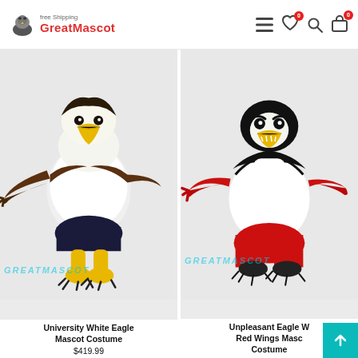GreatMascot — Free Shipping
[Figure (photo): University White Eagle Mascot Costume — bald eagle mascot with white body, dark shorts, yellow beak and feet, brown wings, GREATMASCOT watermark]
University White Eagle Mascot Costume
$419.99
[Figure (photo): Unpleasant Eagle With Red Wings Mascot Costume — black and white eagle mascot with red wings/arms, yellow beak, grumpy expression, GREATMASCOT watermark]
Unpleasant Eagle With Red Wings Mascot Costume